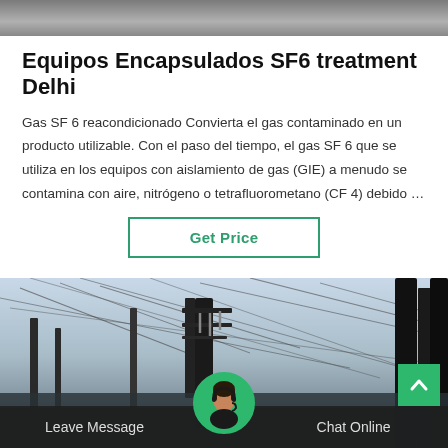[Figure (photo): Top portion of an electrical substation or industrial facility photo (partial view, cropped at top)]
Equipos Encapsulados SF6 treatment Delhi
Gas SF 6 reacondicionado Convierta el gas contaminado en un producto utilizable. Con el paso del tiempo, el gas SF 6 que se utiliza en los equipos con aislamiento de gas (GIE) a menudo se contamina con aire, nitrógeno o tetrafluorometano (CF 4) debido …
[Figure (other): Get Price button with teal/green border]
[Figure (photo): Electrical substation with transmission towers, high-voltage lines and equipment. Overlay footer bar with Leave Message and Chat Online buttons and a customer service agent avatar in green circle. Green up-arrow button in bottom right corner.]